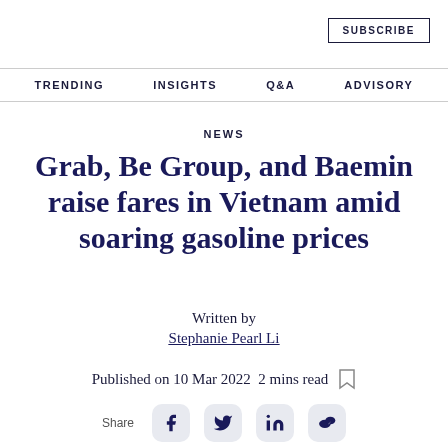SUBSCRIBE
TRENDING  INSIGHTS  Q&A  ADVISORY
NEWS
Grab, Be Group, and Baemin raise fares in Vietnam amid soaring gasoline prices
Written by
Stephanie Pearl Li
Published on 10 Mar 2022  2 mins read
Share